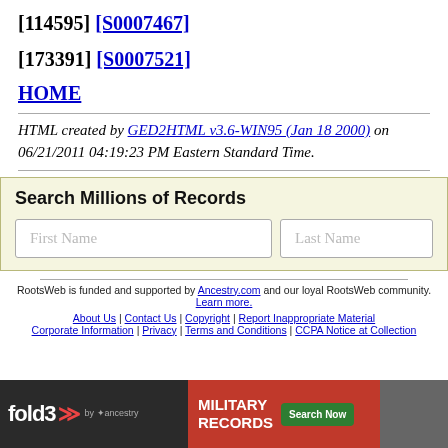[114595] [S0007467]
[173391] [S0007521]
HOME
HTML created by GED2HTML v3.6-WIN95 (Jan 18 2000) on 06/21/2011 04:19:23 PM Eastern Standard Time.
Search Millions of Records
First Name  Last Name
RootsWeb is funded and supported by Ancestry.com and our loyal RootsWeb community. Learn more.
About Us | Contact Us | Copyright | Report Inappropriate Material Corporate Information | Privacy | Terms and Conditions | CCPA Notice at Collection
[Figure (advertisement): Fold3 military records advertisement banner with Search Now button]